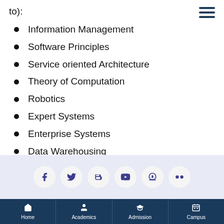to):
Information Management
Software Principles
Service oriented Architecture
Theory of Computation
Robotics
Expert Systems
Enterprise Systems
Data Warehousing
Home | Academics | Admission | Campus